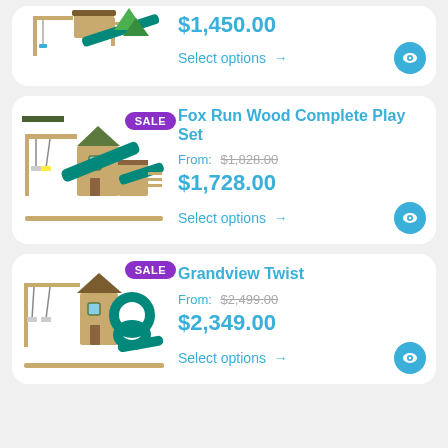[Figure (other): Partial product card showing a wooden play set with green slide, price $1,450.00 and Select options link]
[Figure (other): Fox Run Wood Complete Play Set product card with SALE badge, image of wooden play set with swings and green slide, original price $1,828.00, sale price $1,728.00, Select options link]
[Figure (other): Grandview Twist product card with SALE badge, image of wooden play set with tube slide and swings, original price $2,499.00, sale price $2,349.00, Select options link]